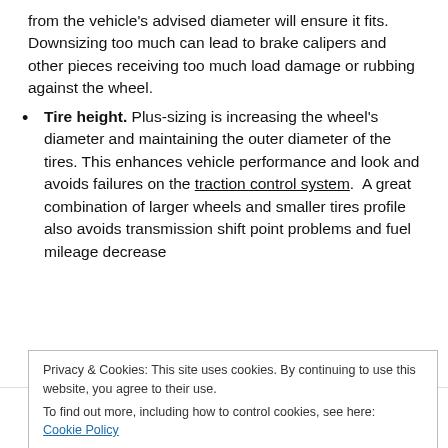from the vehicle's advised diameter will ensure it fits. Downsizing too much can lead to brake calipers and other pieces receiving too much load damage or rubbing against the wheel.
Tire height. Plus-sizing is increasing the wheel's diameter and maintaining the outer diameter of the tires. This enhances vehicle performance and look and avoids failures on the traction control system. A great combination of larger wheels and smaller tires profile also avoids transmission shift point problems and fuel mileage decrease
Privacy & Cookies: This site uses cookies. By continuing to use this website, you agree to their use.
To find out more, including how to control cookies, see here:
Cookie Policy
[Figure (other): Social media sharing icons: Facebook, Twitter, Pinterest, Email]